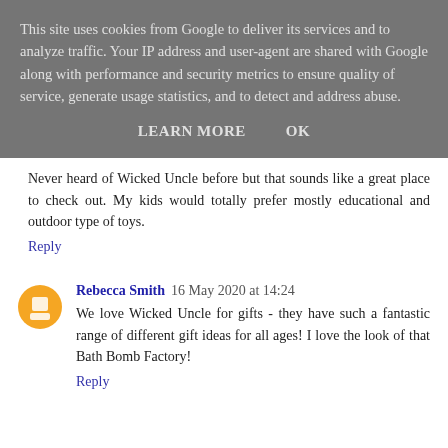This site uses cookies from Google to deliver its services and to analyze traffic. Your IP address and user-agent are shared with Google along with performance and security metrics to ensure quality of service, generate usage statistics, and to detect and address abuse.
LEARN MORE    OK
Never heard of Wicked Uncle before but that sounds like a great place to check out. My kids would totally prefer mostly educational and outdoor type of toys.
Reply
Rebecca Smith  16 May 2020 at 14:24
We love Wicked Uncle for gifts - they have such a fantastic range of different gift ideas for all ages! I love the look of that Bath Bomb Factory!
Reply